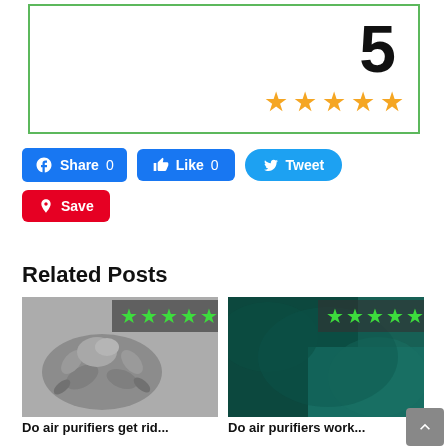[Figure (infographic): Rating box with green border showing the number 5 and five gold stars]
[Figure (infographic): Social media sharing buttons: Facebook Share 0, Like 0, Tweet, and Pinterest Save]
Related Posts
[Figure (photo): Microscope image of dust mites in black and white with green star rating overlay showing 5 stars]
Do air purifiers get rid...
[Figure (photo): Teal/green colored abstract texture image with green star rating overlay showing 5 stars]
Do air purifiers work...